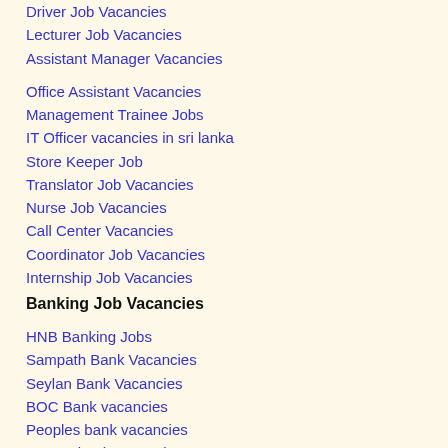Driver Job Vacancies
Lecturer Job Vacancies
Assistant Manager Vacancies
Office Assistant Vacancies
Management Trainee Jobs
IT Officer vacancies in sri lanka
Store Keeper Job
Translator Job Vacancies
Nurse Job Vacancies
Call Center Vacancies
Coordinator Job Vacancies
Internship Job Vacancies
Banking Job Vacancies
HNB Banking Jobs
Sampath Bank Vacancies
Seylan Bank Vacancies
BOC Bank vacancies
Peoples bank vacancies
Amana bank Vacancies